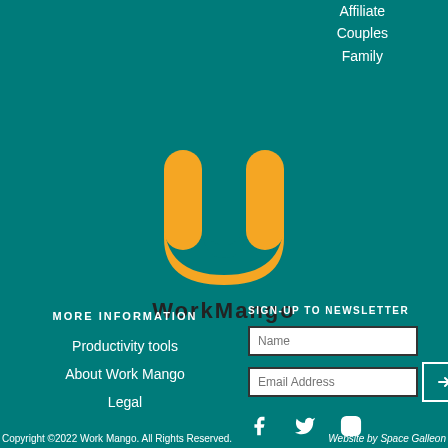Affiliate
Couples
Family
[Figure (logo): WorkMango logo — orange U-shaped magnet icon above the text 'WorkMango' in dark letters]
MORE INFORMATION
Productivity tools
About Work Mango
Legal
SIGN-UP TO NEWSLETTER
Name (input field)
Email Address (input field)
[Figure (other): Facebook, Twitter, and Instagram social media icons in white]
Copyright ©2022 Work Mango. All Rights Reserved.
Website by Space Galleon